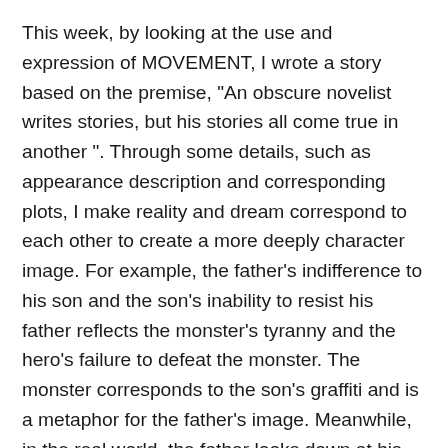This week, by looking at the use and expression of MOVEMENT, I wrote a story based on the premise, "An obscure novelist writes stories, but his stories all come true in another ". Through some details, such as appearance description and corresponding plots, I make reality and dream correspond to each other to create a more deeply character image. For example, the father's indifference to his son and the son's inability to resist his father reflects the monster's tyranny and the hero's failure to defeat the monster. The monster corresponds to the son's graffiti and is a metaphor for the father's image. Meanwhile, in the real world, the father looks down at his son through the camera, symbolizing majesty and oppression. And in the dream, it turns into an upward look oppressed by the monster. I hope that by the movement of the camera angle and the change and echo of time and space, some things could be revealed, even without being clearly explained by dialogue.